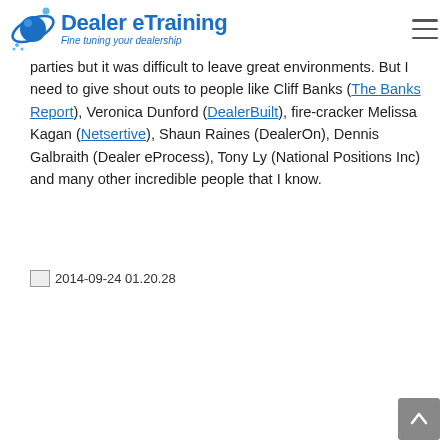Dealer eTraining — Fine tuning your dealership
parties but it was difficult to leave great environments. But I need to give shout outs to people like Cliff Banks (The Banks Report), Veronica Dunford (DealerBuilt), fire-cracker Melissa Kagan (Netsertive), Shaun Raines (DealerOn), Dennis Galbraith (Dealer eProcess), Tony Ly (National Positions Inc) and many other incredible people that I know.
[Figure (photo): Broken image placeholder labeled '2014-09-24 01.20.28']